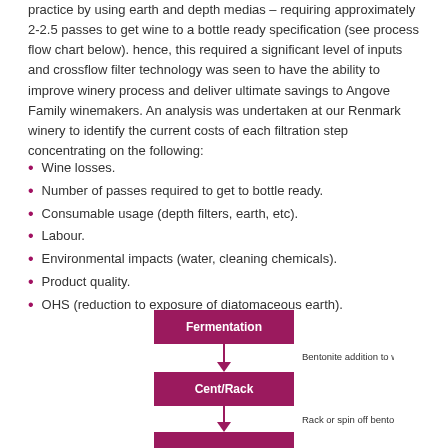practice by using earth and depth medias – requiring approximately 2-2.5 passes to get wine to a bottle ready specification (see process flow chart below). hence, this required a significant level of inputs and crossflow filter technology was seen to have the ability to improve winery process and deliver ultimate savings to Angove Family winemakers. An analysis was undertaken at our Renmark winery to identify the current costs of each filtration step concentrating on the following:
Wine losses.
Number of passes required to get to bottle ready.
Consumable usage (depth filters, earth, etc).
Labour.
Environmental impacts (water, cleaning chemicals).
Product quality.
OHS (reduction to exposure of diatomaceous earth).
[Figure (flowchart): Process flow chart showing winery filtration steps: Fermentation box (purple) → Bentonite addition to whites label → Cent/Rack box (purple) → Rack or spin off bento/lees label → next box (partially visible)]